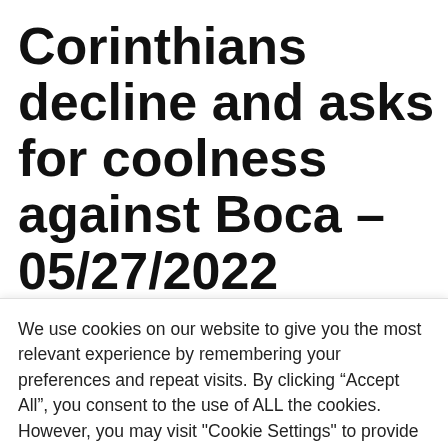Corinthians decline and asks for coolness against Boca – 05/27/2022
May 27, 2022 by parkinsonmedi.com
Vitor Pereira admitted on Friday that football...
We use cookies on our website to give you the most relevant experience by remembering your preferences and repeat visits. By clicking “Accept All”, you consent to the use of ALL the cookies. However, you may visit "Cookie Settings" to provide a controlled consent.